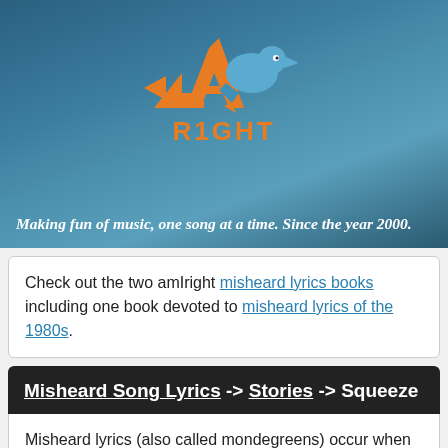[Figure (logo): amIright logo with orange letter A shaped like a house with arrows, blue bird/pen shape, and orange text 'RIGHT' below, on a blue-grey gradient background]
Making fun of music, one song at a time. Since the year 2000.
Check out the two amIright misheard lyrics books including one book devoted to misheard lyrics of the 1980s.
Misheard Song Lyrics -> Stories -> Squeeze
Misheard lyrics (also called mondegreens) occur when people misunderstand the lyrics in a song. These are NOT intentional rephrasing of lyrics, which is called parody. For more